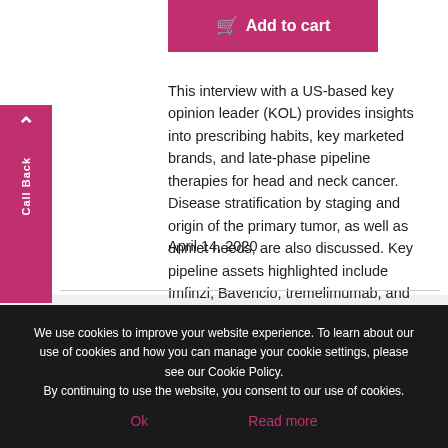[Figure (other): Pink 'Add to cart' button with shopping cart icon]
This interview with a US-based key opinion leader (KOL) provides insights into prescribing habits, key marketed brands, and late-phase pipeline therapies for head and neck cancer. Disease stratification by staging and origin of the primary tumor, as well as unmet needs, are also discussed. Key pipeline assets highlighted include Imfinzi, Bavencio, tremelimumab, and Tecentriq.
April 14, 2020
We use cookies to improve your website experience. To learn about our use of cookies and how you can manage your cookie settings, please see our Cookie Policy.
By continuing to use the website, you consent to our use of cookies.
Ok
Read more